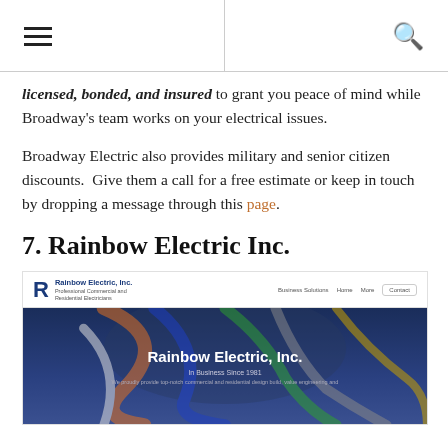Navigation menu and search icon
licensed, bonded, and insured to grant you peace of mind while Broadway's team works on your electrical issues.
Broadway Electric also provides military and senior citizen discounts.  Give them a call for a free estimate or keep in touch by dropping a message through this page.
7. Rainbow Electric Inc.
[Figure (screenshot): Screenshot of Rainbow Electric Inc. website showing their logo with a stylized R, site navigation, and a hero image with colorful electrical cables in the background behind white text reading 'Rainbow Electric, Inc.' with subheading 'In Business Since 1981' and a description paragraph.]